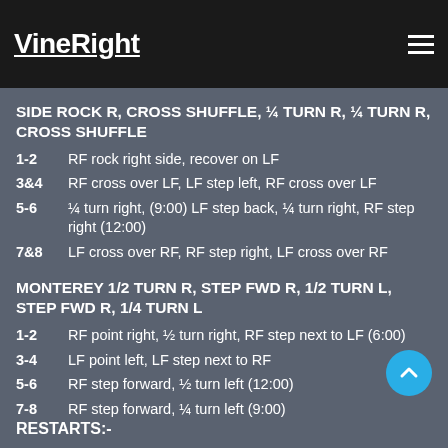VineRight
SIDE ROCK R, CROSS SHUFFLE, ¼ TURN R, ¼ TURN R, CROSS SHUFFLE
1-2   RF rock right side, recover on LF
3&4   RF cross over LF, LF step left, RF cross over LF
5-6   ¼ turn right, (9:00) LF step back, ¼ turn right, RF step right (12:00)
7&8   LF cross over RF, RF step right, LF cross over RF
MONTEREY 1/2 TURN R, STEP FWD R, 1/2 TURN L, STEP FWD R, 1/4 TURN L
1-2   RF point right, ½ turn right, RF step next to LF (6:00)
3-4   LF point left, LF step next to RF
5-6   RF step forward, ½ turn left (12:00)
7-8   RF step forward, ¼ turn left (9:00)
RESTARTS:-